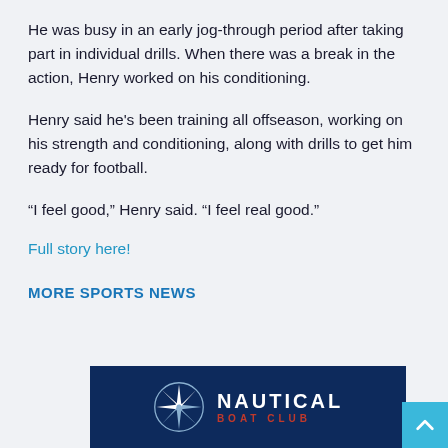He was busy in an early jog-through period after taking part in individual drills. When there was a break in the action, Henry worked on his conditioning.
Henry said he's been training all offseason, working on his strength and conditioning, along with drills to get him ready for football.
“I feel good,” Henry said. “I feel real good.”
Full story here!
MORE SPORTS NEWS
[Figure (logo): Nautical Boat Club advertisement banner with compass rose logo on dark navy background, text NAUTICAL in white and BOAT CLUB in red]